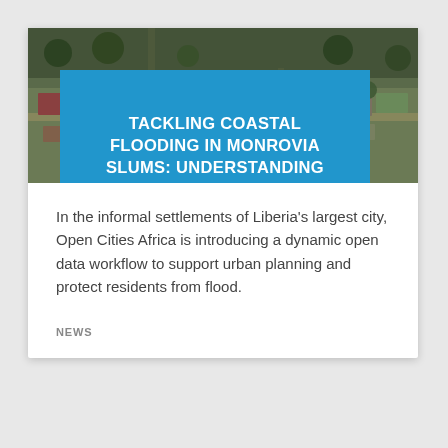[Figure (photo): Aerial view of informal settlement / slum area in Monrovia, Liberia, showing densely packed structures, colorful rooftops, and dirt roads from above.]
TACKLING COASTAL FLOODING IN MONROVIA SLUMS: UNDERSTANDING THROUGH PARTNERSHIPS, ONE COMMUNITY AT A TIME
In the informal settlements of Liberia's largest city, Open Cities Africa is introducing a dynamic open data workflow to support urban planning and protect residents from flood.
NEWS